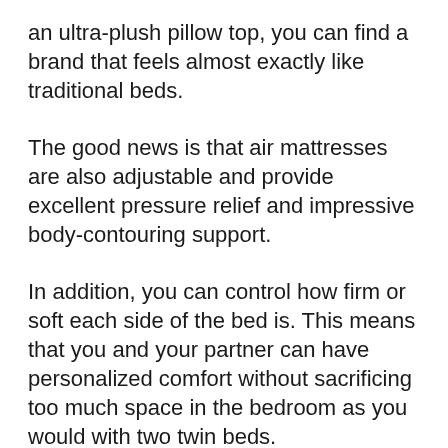an ultra-plush pillow top, you can find a brand that feels almost exactly like traditional beds.
The good news is that air mattresses are also adjustable and provide excellent pressure relief and impressive body-contouring support.
In addition, you can control how firm or soft each side of the bed is. This means that you and your partner can have personalized comfort without sacrificing too much space in the bedroom as you would with two twin beds.